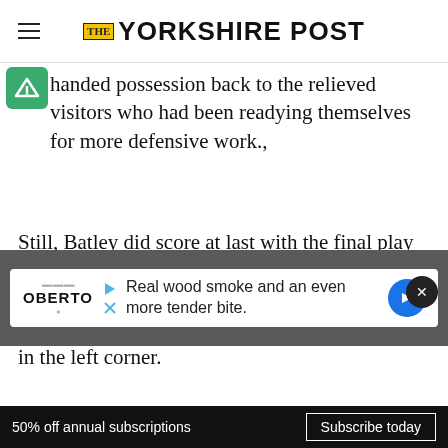THE YORKSHIRE POST
handed possession back to the relieved visitors who had been readying themselves for more defensive work.,
Still, Batley did score at last with the final play of the half when Gilmore and George Senior linked for Johnny Campbell, who had to check his run to gather the pass, to impressively finish in the left corner.
With suddenly  at 10-6  the half-time picture
[Figure (infographic): Advertisement banner: Oberto brand ad with text 'Real wood smoke and an even more tender bite.' with play and cancel icons, and a blue arrow direction sign]
50% off annual subscriptions   Subscribe today